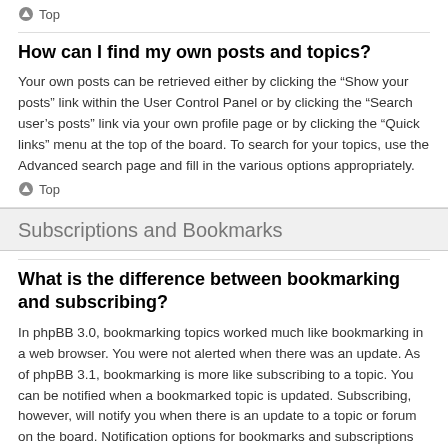Top
How can I find my own posts and topics?
Your own posts can be retrieved either by clicking the “Show your posts” link within the User Control Panel or by clicking the “Search user’s posts” link via your own profile page or by clicking the “Quick links” menu at the top of the board. To search for your topics, use the Advanced search page and fill in the various options appropriately.
Top
Subscriptions and Bookmarks
What is the difference between bookmarking and subscribing?
In phpBB 3.0, bookmarking topics worked much like bookmarking in a web browser. You were not alerted when there was an update. As of phpBB 3.1, bookmarking is more like subscribing to a topic. You can be notified when a bookmarked topic is updated. Subscribing, however, will notify you when there is an update to a topic or forum on the board. Notification options for bookmarks and subscriptions can be configured in the User Control Panel, under “Board preferences”.